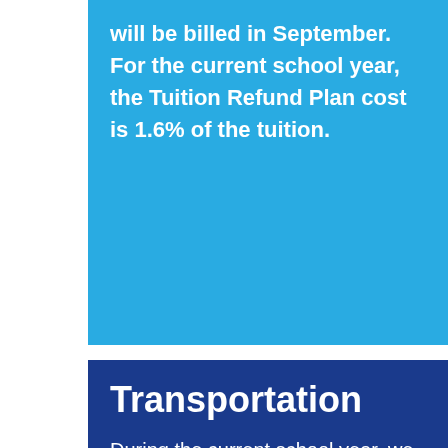will be billed in September. For the current school year, the Tuition Refund Plan cost is 1.6% of the tuition.
Transportation
During the current school year, we offer bus service to and from selected centralized locations.
Round Trip Service: $2,850
Each Additional Child: $1,725